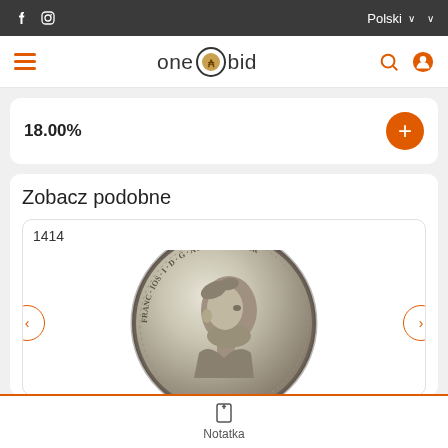f  [instagram]  Polski  ∨  ∨
[Figure (screenshot): one·bid logo with hamburger menu, search icon, and user icon navigation bar]
18.00%
Zobacz podobne
1414
[Figure (photo): Silver coin showing profile portrait of Franz Joseph I with text FRANC IOS I D G AUSTRIA IMPER around the edge]
Notatka